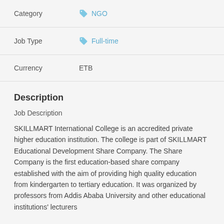| Field | Value |
| --- | --- |
| Category | NGO |
| Job Type | Full-time |
| Currency | ETB |
Description
Job Description
SKILLMART International College is an accredited private higher education institution. The college is part of SKILLMART Educational Development Share Company. The Share Company is the first education-based share company established with the aim of providing high quality education from kindergarten to tertiary education. It was organized by professors from Addis Ababa University and other educational institutions' lecturers